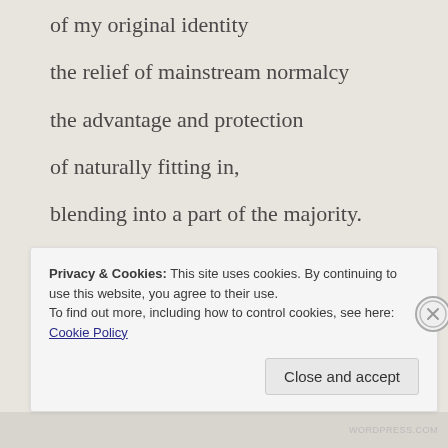of my original identity
the relief of mainstream normalcy
the advantage and protection
of naturally fitting in,
blending into a part of the majority.
I lost my right of
pride in belonging.
Privacy & Cookies: This site uses cookies. By continuing to use this website, you agree to their use.
To find out more, including how to control cookies, see here: Cookie Policy